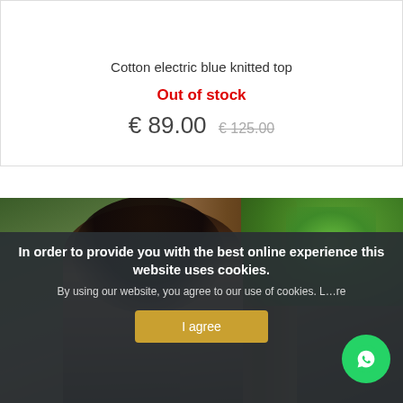[Figure (photo): Top portion of a product photo showing a woman in a blue top against a rocky/earth background, with a brand name in gold script text partially visible]
Cotton electric blue knitted top
Out of stock
€ 89.00  € 125.00
[Figure (photo): Portrait photo of a young woman with dark hair standing in front of a large tree trunk with green ivy/leaves in the background]
In order to provide you with the best online experience this website uses cookies.
By using our website, you agree to our use of cookies. L...re
I agree